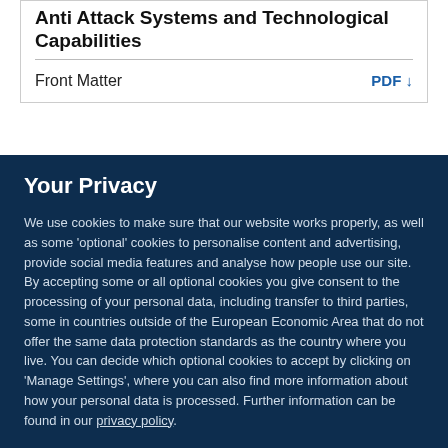Anti Attack Systems and Technological Capabilities
Front Matter  PDF ↓
Your Privacy
We use cookies to make sure that our website works properly, as well as some 'optional' cookies to personalise content and advertising, provide social media features and analyse how people use our site. By accepting some or all optional cookies you give consent to the processing of your personal data, including transfer to third parties, some in countries outside of the European Economic Area that do not offer the same data protection standards as the country where you live. You can decide which optional cookies to accept by clicking on 'Manage Settings', where you can also find more information about how your personal data is processed. Further information can be found in our privacy policy.
Accept all cookies
Manage preferences